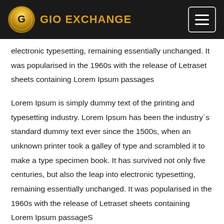GIO EXCHANGE
electronic typesetting, remaining essentially unchanged. It was popularised in the 1960s with the release of Letraset sheets containing Lorem Ipsum passages
Lorem Ipsum is simply dummy text of the printing and typesetting industry. Lorem Ipsum has been the industry`s standard dummy text ever since the 1500s, when an unknown printer took a galley of type and scrambled it to make a type specimen book. It has survived not only five centuries, but also the leap into electronic typesetting, remaining essentially unchanged. It was popularised in the 1960s with the release of Letraset sheets containing Lorem Ipsum passageS